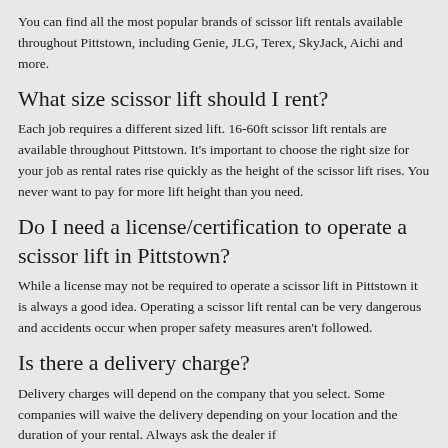You can find all the most popular brands of scissor lift rentals available throughout Pittstown, including Genie, JLG, Terex, SkyJack, Aichi and more.
What size scissor lift should I rent?
Each job requires a different sized lift. 16-60ft scissor lift rentals are available throughout Pittstown. It's important to choose the right size for your job as rental rates rise quickly as the height of the scissor lift rises. You never want to pay for more lift height than you need.
Do I need a license/certification to operate a scissor lift in Pittstown?
While a license may not be required to operate a scissor lift in Pittstown it is always a good idea. Operating a scissor lift rental can be very dangerous and accidents occur when proper safety measures aren't followed.
Is there a delivery charge?
Delivery charges will depend on the company that you select. Some companies will waive the delivery depending on your location and the duration of your rental. Always ask the dealer if